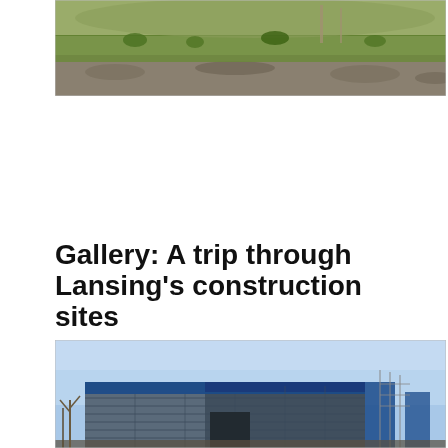[Figure (photo): Outdoor construction site or disturbed land area showing rocky/gravel ground with green grass and sparse vegetation, typical of a cleared construction lot.]
Gallery: A trip through Lansing’s construction sites
by Brian Crandall
September 4, 2020
[Figure (photo): A large industrial or commercial building under construction with blue and grey metal cladding panels, clear blue sky in the background, scaffolding visible on the right side of the building.]